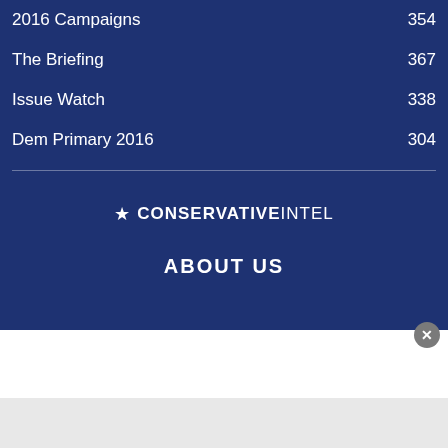2016 Campaigns  354
The Briefing  367
Issue Watch  338
Dem Primary 2016  304
[Figure (logo): Conservative Intel logo with star icon, text CONSERVATIVE INTEL]
ABOUT US